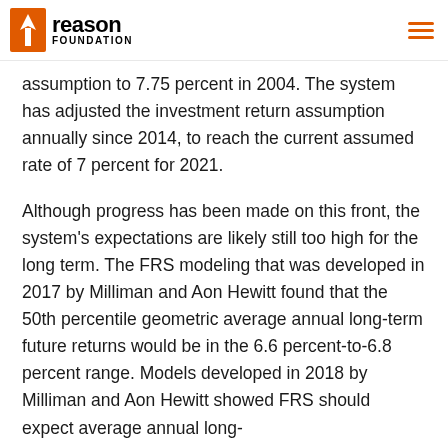Reason Foundation
assumption to 7.75 percent in 2004. The system has adjusted the investment return assumption annually since 2014, to reach the current assumed rate of 7 percent for 2021.
Although progress has been made on this front, the system's expectations are likely still too high for the long term. The FRS modeling that was developed in 2017 by Milliman and Aon Hewitt found that the 50th percentile geometric average annual long-term future returns would be in the 6.6 percent-to-6.8 percent range. Models developed in 2018 by Milliman and Aon Hewitt showed FRS should expect average annual long-